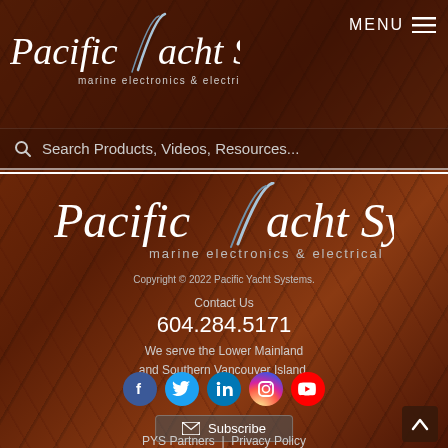[Figure (logo): Pacific Yacht Systems logo with slash mark and tagline 'marine electronics & electrical' in top header bar with wood background]
MENU ≡
Search Products, Videos, Resources...
[Figure (logo): Pacific Yacht Systems large centered logo with slash mark and tagline 'marine electronics & electrical' on wood background]
Copyright © 2022 Pacific Yacht Systems.
Contact Us
604.284.5171
We serve the Lower Mainland and Southern Vancouver Island.
[Figure (infographic): Social media icon row: Facebook (blue), Twitter (light blue), LinkedIn (blue), Instagram (gradient), YouTube (red)]
Subscribe
PYS Partners  |  Privacy Policy